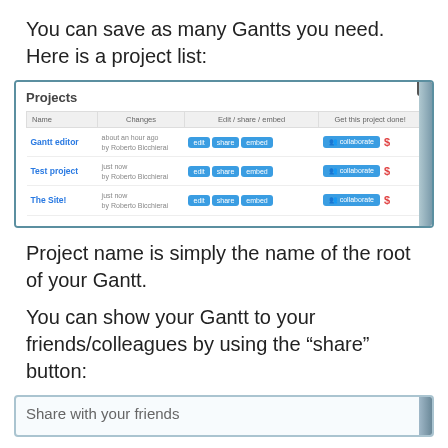You can save as many Gantts you need. Here is a project list:
[Figure (screenshot): Screenshot of a Projects list showing three projects: Gantt editor, Test project, The Site!. Each row has Name, Changes (about an hour ago / just now by Roberto Bicchierai), and buttons: edit, share, embed, collaborate, and a delete icon.]
Project name is simply the name of the root of your Gantt.
You can show your Gantt to your friends/colleagues by using the “share” button:
[Figure (screenshot): Partial screenshot of a Share with your friends dialog box.]